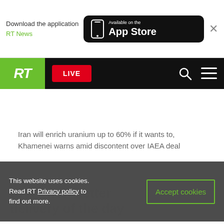[Figure (screenshot): App Store download banner with RT News logo and Available on the App Store button]
[Figure (screenshot): RT News navigation bar with green RT logo box, red LIVE button, search icon, and hamburger menu]
Iran will enrich uranium up to 60% if it wants to, Khamenei warns amid discontent over IAEA deal
This website uses cookies. Read RT Privacy policy to find out more.
Accept cookies